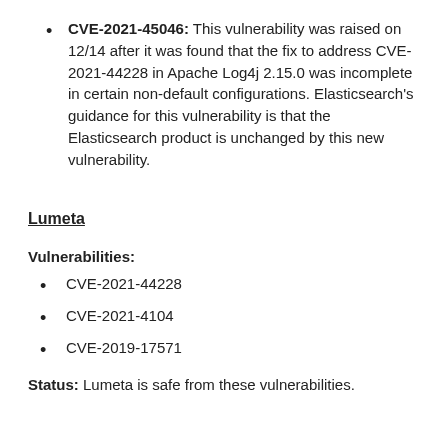CVE-2021-45046: This vulnerability was raised on 12/14 after it was found that the fix to address CVE-2021-44228 in Apache Log4j 2.15.0 was incomplete in certain non-default configurations. Elasticsearch's guidance for this vulnerability is that the Elasticsearch product is unchanged by this new vulnerability.
Lumeta
Vulnerabilities:
CVE-2021-44228
CVE-2021-4104
CVE-2019-17571
Status: Lumeta is safe from these vulnerabilities.